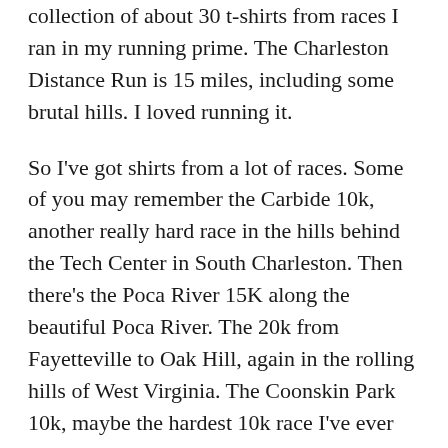collection of about 30 t-shirts from races I ran in my running prime. The Charleston Distance Run is 15 miles, including some brutal hills. I loved running it.
So I've got shirts from a lot of races. Some of you may remember the Carbide 10k, another really hard race in the hills behind the Tech Center in South Charleston. Then there's the Poca River 15K along the beautiful Poca River. The 20k from Fayetteville to Oak Hill, again in the rolling hills of West Virginia. The Coonskin Park 10k, maybe the hardest 10k race I've ever run. Back then everything was 10k. I went to California one year and ran the Brentwood 10k. That was cool.
But what do I do with all the shirts? Put them back in the box and take them out again in another 30 years? Remember the old days when I was a real